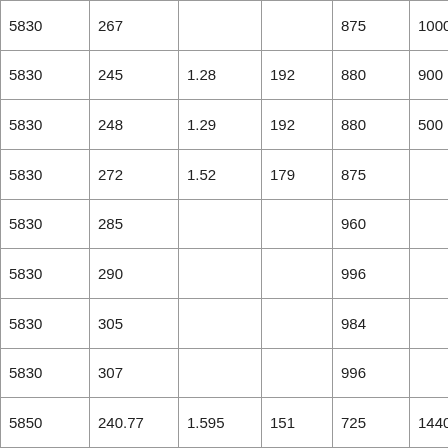| 5830 | 267 |  |  | 875 | 1000 | 2.4 |
| 5830 | 245 | 1.28 | 192 | 880 | 900 | 2.4 |
| 5830 | 248 | 1.29 | 192 | 880 | 500 | 2.4 |
| 5830 | 272 | 1.52 | 179 | 875 |  | 2.4 |
| 5830 | 285 |  |  | 960 |  | 2.4 |
| 5830 | 290 |  |  | 996 |  | 2.4 |
| 5830 | 305 |  |  | 984 |  | 2.4 |
| 5830 | 307 |  |  | 996 |  | 2.4 |
| 5850 | 240.77 | 1.595 | 151 | 725 | 1440 |  |